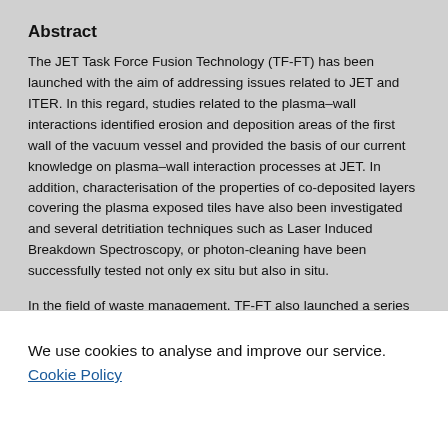Abstract
The JET Task Force Fusion Technology (TF-FT) has been launched with the aim of addressing issues related to JET and ITER. In this regard, studies related to the plasma–wall interactions identified erosion and deposition areas of the first wall of the vacuum vessel and provided the basis of our current knowledge on plasma–wall interaction processes at JET. In addition, characterisation of the properties of co-deposited layers covering the plasma exposed tiles have also been investigated and several detritiation techniques such as Laser Induced Breakdown Spectroscopy, or photon-cleaning have been successfully tested not only ex situ but also in situ.
In the field of waste management, TF-FT also launched a series of tasks aiming at the detritiation of any kind of waste produced by a Fusion facility. Based on such studies it is now possible to
We use cookies to analyse and improve our service. Cookie Policy